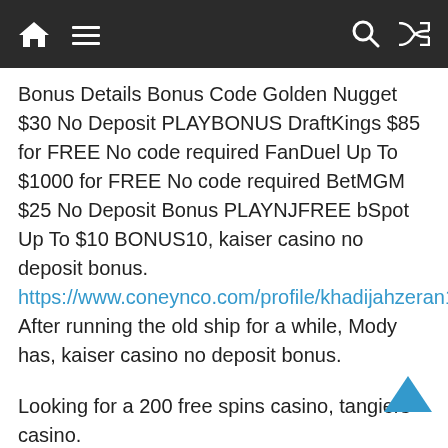[Figure (screenshot): Mobile navigation bar with home icon, hamburger menu, search icon, and shuffle icon on dark background]
Bonus Details Bonus Code Golden Nugget $30 No Deposit PLAYBONUS DraftKings $85 for FREE No code required FanDuel Up To $1000 for FREE No code required BetMGM $25 No Deposit Bonus PLAYNJFREE bSpot Up To $10 BONUS10, kaiser casino no deposit bonus. https://www.coneynco.com/profile/khadijahzeran1987/profile After running the old ship for a while, Mody has, kaiser casino no deposit bonus.
Looking for a 200 free spins casino, tangiers casino. https://www.lamsaludable.com/profile/belkiskoter as1984/profile Find many great new & used options and get the best deals for bally slot machines service manual